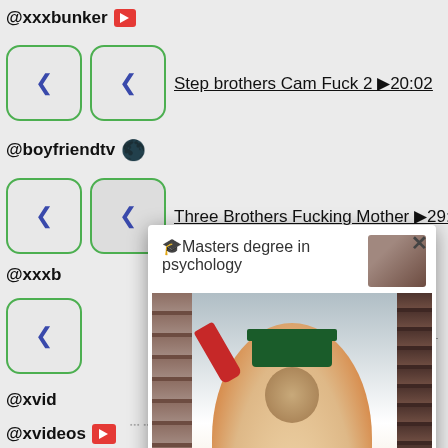@xxxbunker [play icon]
[Figure (screenshot): Two video thumbnail placeholder boxes with green rounded borders, beside video title 'Step brothers Cam Fuck 2 ▶20:02' with underline]
@boyfriendtv 💣
[Figure (screenshot): Two video thumbnail placeholder boxes with green rounded borders, beside video title 'Three Brothers Fucking Mother ▶29:56' with underline]
@xxxb
[Figure (screenshot): Single video thumbnail placeholder box with green rounded border]
@xvid
[Figure (screenshot): Single video thumbnail placeholder box with green rounded border]
@xvideos [play icon]
[Figure (photo): Popup overlay showing a person in graduation cap and gown sitting in a library, holding a red cup. Text header reads '🎓Masters degree in psychology' with a small thumbnail and an X close button. Footer shows 'cj4'.]